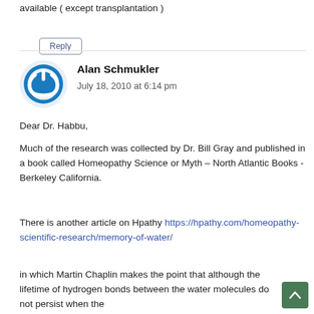available ( except transplantation )
Reply
Alan Schmukler
July 18, 2010 at 6:14 pm
Dear Dr. Habbu,
Much of the research was collected by Dr. Bill Gray and published in a book called Homeopathy Science or Myth – North Atlantic Books -Berkeley California.
There is another article on Hpathy https://hpathy.com/homeopathy-scientific-research/memory-of-water/
in which Martin Chaplin makes the point that although the lifetime of hydrogen bonds between the water molecules do not persist when the